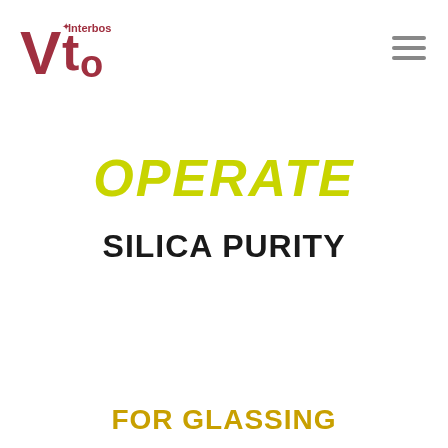[Figure (logo): VTO Interbos logo — stylized V, T, O letters in dark red/maroon with 'Interbos' text and a star/asterisk mark]
OPERATE
SILICA PURITY
FOR GLASSING